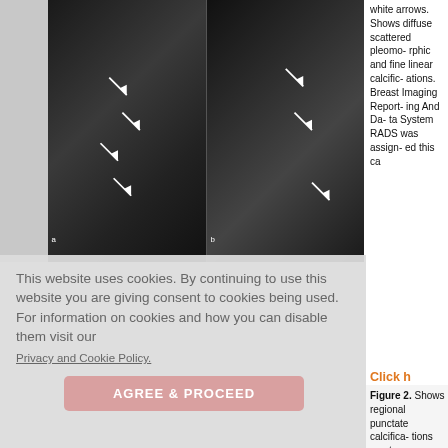[Figure (photo): Two mammogram images side by side with white arrows indicating calcifications]
white arrows. Shows diffuse scattered pleomorphic and fine linear calcifications. Breast Imaging Reporting And Data System RADS was assigned this ca
Click h view
This website uses cookies. By continuing to use this website you are giving consent to cookies being used. For information on cookies and how you can disable them visit our
Privacy and Cookie Policy.
AGREE & PROCEED
Figure 2. Shows regional punctate calcifications on stan